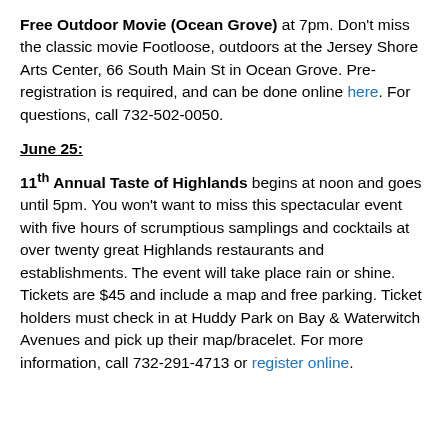Free Outdoor Movie (Ocean Grove) at 7pm. Don't miss the classic movie Footloose, outdoors at the Jersey Shore Arts Center, 66 South Main St in Ocean Grove. Pre-registration is required, and can be done online here. For questions, call 732-502-0050.
June 25:
11th Annual Taste of Highlands begins at noon and goes until 5pm. You won't want to miss this spectacular event with five hours of scrumptious samplings and cocktails at over twenty great Highlands restaurants and establishments. The event will take place rain or shine. Tickets are $45 and include a map and free parking. Ticket holders must check in at Huddy Park on Bay & Waterwitch Avenues and pick up their map/bracelet. For more information, call 732-291-4713 or register online.